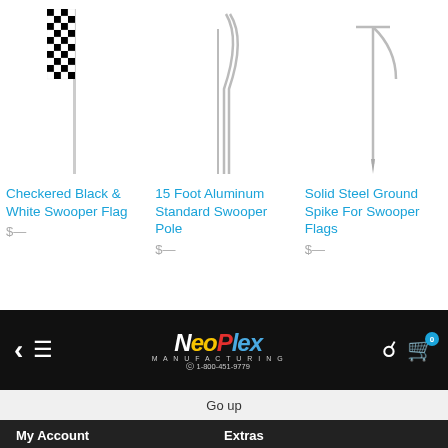[Figure (photo): Three product images: checkered black and white swooper flag, 15 foot aluminum swooper pole, solid steel ground spike]
Checkered Black & White Swooper Flag
15 Foot Aluminum Standard Swooper Pole
Solid Steel Ground Spike For Swooper Flags
[Figure (logo): NeoPlex Manufacturing logo with phone number 1-800-451-9779, navigation bar with back arrow, menu icon, search icon, and cart icon]
Go up
My Account
Extras
My Account
Specials
Order History